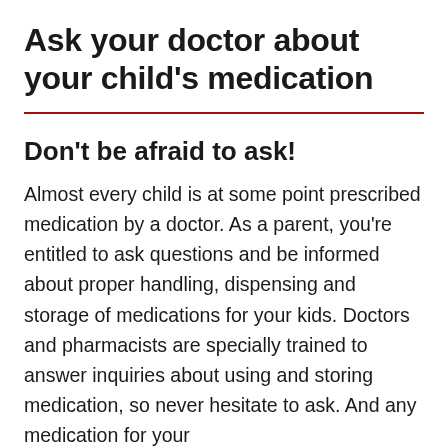Ask your doctor about your child's medication
Don't be afraid to ask!
Almost every child is at some point prescribed medication by a doctor. As a parent, you're entitled to ask questions and be informed about proper handling, dispensing and storage of medications for your kids. Doctors and pharmacists are specially trained to answer inquiries about using and storing medication, so never hesitate to ask. And any medication for your